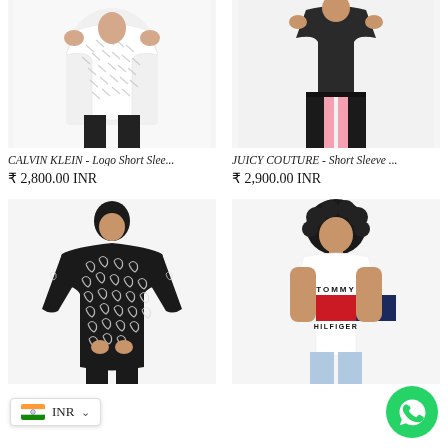[Figure (photo): Calvin Klein white logo short sleeve tee worn by model, shown from torso with black pants]
CALVIN KLEIN - Logo Short Slee...
₹ 2,800.00 INR
[Figure (photo): Juicy Couture short sleeve top worn by model with black and pink pants]
JUICY COUTURE - Short Sleeve ...
₹ 2,900.00 INR
[Figure (photo): Black and white paisley patterned blouse worn by model]
[Figure (photo): Tommy Hilfiger classic logo tee in white with red and navy color block, worn by model with curly hair]